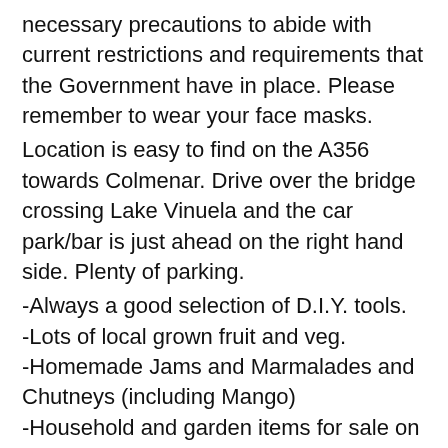necessary precautions to abide with current restrictions and requirements that the Government have in place. Please remember to wear your face masks.
Location is easy to find on the A356 towards Colmenar. Drive over the bridge crossing Lake Vinuela and the car park/bar is just ahead on the right hand side. Plenty of parking.
-Always a good selection of D.I.Y. tools.
-Lots of local grown fruit and veg.
-Homemade Jams and Marmalades and Chutneys (including Mango)
-Household and garden items for sale on many of the stalls
-Plants, shrubs, flowers and herbs